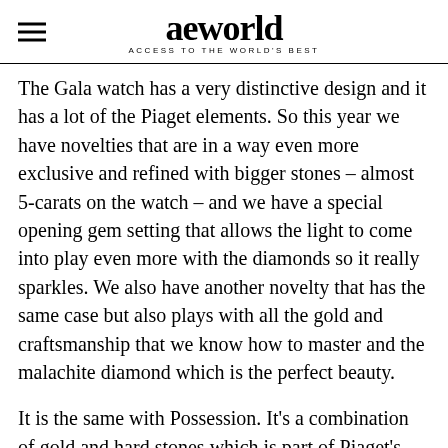aeworld ACCESS TO THE WORLD'S BEST
The Gala watch has a very distinctive design and it has a lot of the Piaget elements. So this year we have novelties that are in a way even more exclusive and refined with bigger stones – almost 5-carats on the watch – and we have a special opening gem setting that allows the light to come into play even more with the diamonds so it really sparkles. We also have another novelty that has the same case but also plays with all the gold and craftsmanship that we know how to master and the malachite diamond which is the perfect beauty.
It is the same with Possession. It's a combination of gold and hard stones which is part of Piaget's DNA and I think as long as you're strict to that and stay